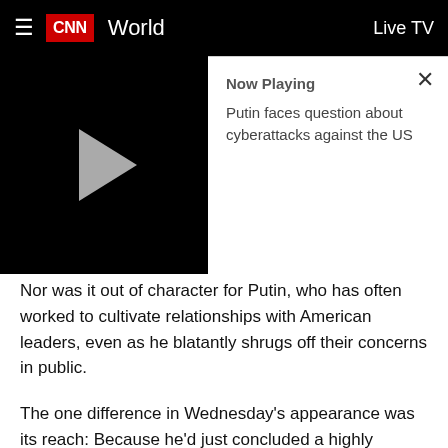CNN World | Live TV
[Figure (screenshot): Video thumbnail showing CNN video player with play button on black background, alongside 'Now Playing' info panel showing title 'Putin faces question about cyberattacks against the US' with a close (X) button.]
Nor was it out of character for Putin, who has often worked to cultivate relationships with American leaders, even as he blatantly shrugs off their concerns in public.
The one difference in Wednesday's appearance was its reach: Because he'd just concluded a highly anticipated summit with the American President, his remarks were broadcast around the world, including on American television networks.
His concluding press conference came ahead of Biden in a piece of highly planned summit choreography. That